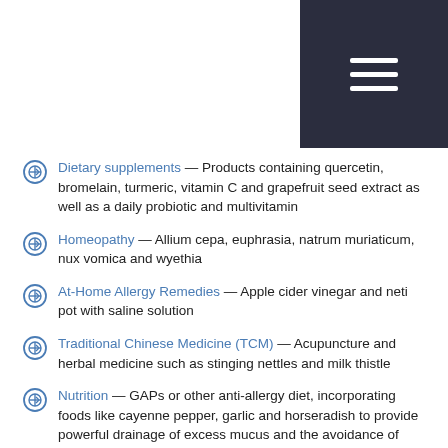Dietary supplements — Products containing quercetin, bromelain, turmeric, vitamin C and grapefruit seed extract as well as a daily probiotic and multivitamin
Homeopathy — Allium cepa, euphrasia, natrum muriaticum, nux vomica and wyethia
At-Home Allergy Remedies — Apple cider vinegar and neti pot with saline solution
Traditional Chinese Medicine (TCM) — Acupuncture and herbal medicine such as stinging nettles and milk thistle
Nutrition — GAPs or other anti-allergy diet, incorporating foods like cayenne pepper, garlic and horseradish to provide powerful drainage of excess mucus and the avoidance of dairy products
Natural cures for seasonal allergies can involve lifestyle changes, including:
Increased water consumption